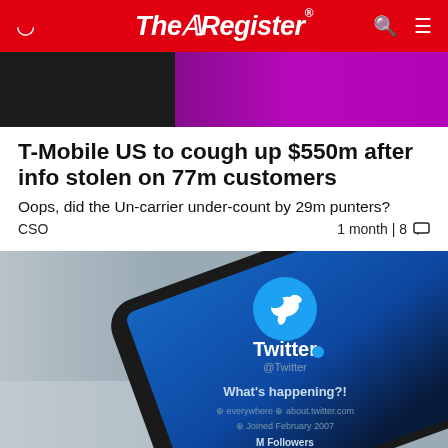The Register
[Figure (photo): Top cropped photo showing a person in a pink/magenta top against a dark background]
T-Mobile US to cough up $550m after info stolen on 77m customers
Oops, did the Un-carrier under-count by 29m punters?
CSO   1 month | 8
[Figure (photo): Close-up photo of a smartphone screen showing the Twitter app profile page with the Twitter bird logo, 'Twitter @Twitter', 'What's happening?!' text, and profile details including 'everywhere', 'about.twitter.com', 'Joined February 2007', and 'M Followers']